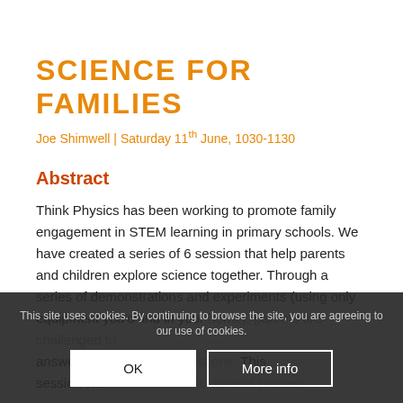SCIENCE FOR FAMILIES
Joe Shimwell | Saturday 11th June, 1030-1130
Abstract
Think Physics has been working to promote family engagement in STEM learning in primary schools. We have created a series of 6 session that help parents and children explore science together. Through a series of demonstrations and experiments (using only equipment you'd find in you... challenged to answer some... ic questions. This session will explain the development process
This site uses cookies. By continuing to browse the site, you are agreeing to our use of cookies.